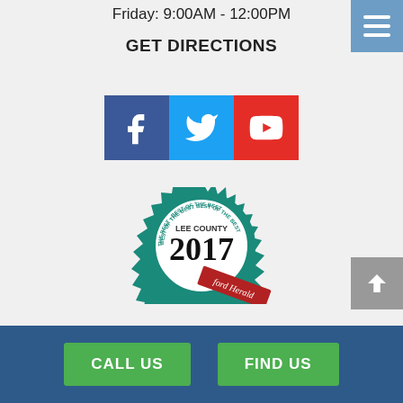Friday: 9:00AM - 12:00PM
GET DIRECTIONS
[Figure (other): Social media icons: Facebook (blue), Twitter (light blue), YouTube (red)]
[Figure (other): Lee County Best of the Best 2017 award badge with Sanford Herald ribbon]
CALL US
FIND US